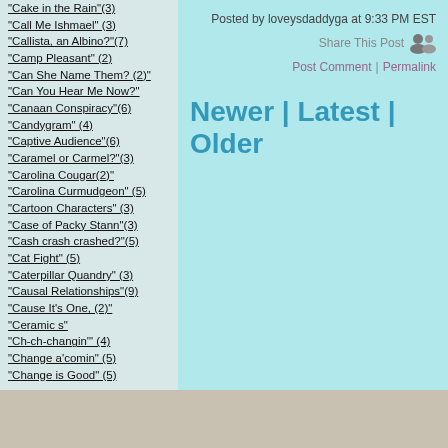"Cake in the Rain"(3)
"Call Me Ishmael" (3)
"Callista, an Albino?"(7)
"Camp Pleasant" (2)
"Can She Name Them? (2)"
"Can You Hear Me Now?"
"Canaan Conspiracy"(6)
"Candygram" (4)
"Captive Audience"(6)
"Caramel or Carmel?"(3)
"Carolina Cougar(2)"
"Carolina Curmudgeon" (5)
"Cartoon Characters" (3)
"Case of Packy Stann"(3)
"Cash crash crashed?"(5)
"Cat Fight" (5)
"Caterpillar Quandry" (3)
"Causal Relationships"(9)
"Cause It's One, (2)"
"Ceramic s"
"Ch-ch-changin'" (4)
"Change a'comin" (5)
"Change is Good" (5)
Posted by loveysdaddyga at 9:33 PM EST
Share This Post
Post Comment | Permalink
Newer | Latest | Older